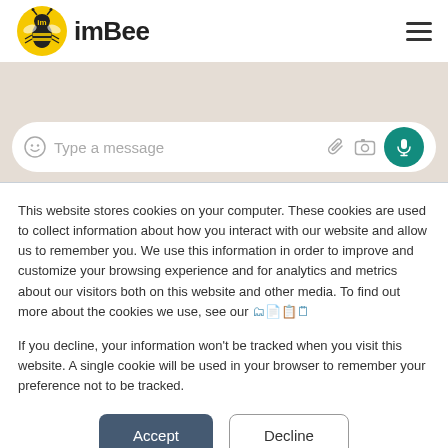[Figure (logo): imBee logo with bee icon and wordmark 'imBee']
[Figure (screenshot): WhatsApp-style chat interface showing message input bar with 'Type a message' placeholder, emoji icon, paperclip icon, camera icon, and teal microphone send button]
This website stores cookies on your computer. These cookies are used to collect information about how you interact with our website and allow us to remember you. We use this information in order to improve and customize your browsing experience and for analytics and metrics about our visitors both on this website and other media. To find out more about the cookies we use, see our
If you decline, your information won't be tracked when you visit this website. A single cookie will be used in your browser to remember your preference not to be tracked.